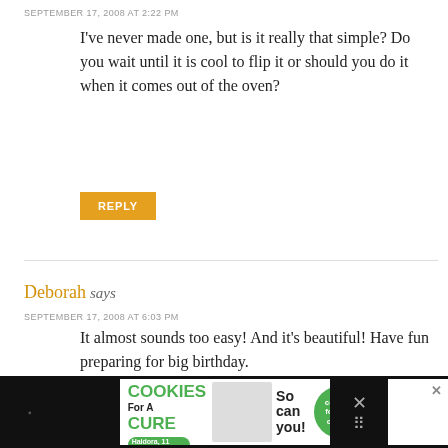SEPTEMBER 17, 2008 AT 2:22 PM
I've never made one, but is it really that simple? Do you wait until it is cool to flip it or should you do it when it comes out of the oven?
REPLY
Deborah says
SEPTEMBER 17, 2008 AT 6:03 PM
It almost sounds too easy! And it's beautiful! Have fun preparing for big birthday.
REPLY
[Figure (infographic): Advertisement banner: I Bake COOKIES For A CURE - So can you! Cookies for Kids Cancer. Haldora, 11 Cancer Survivor.]